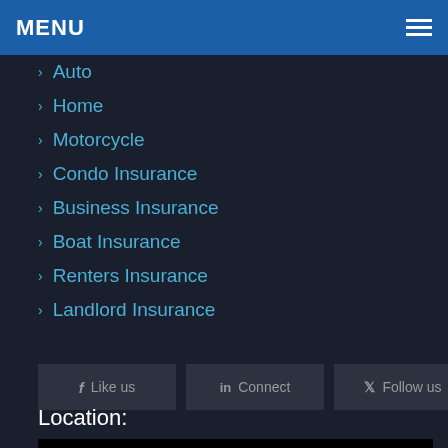MENU
Auto
Home
Motorcycle
Condo Insurance
Business Insurance
Boat Insurance
Renters Insurance
Landlord Insurance
Like us  Connect  Follow us
Location:
Jeff Davis Insurance